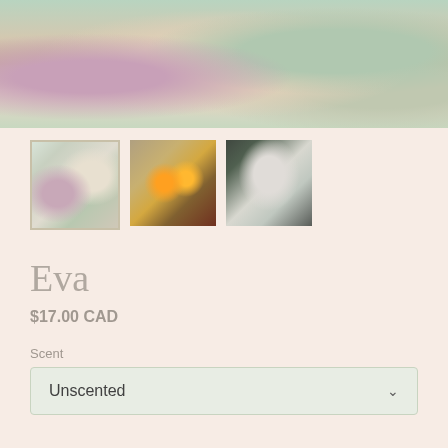[Figure (photo): Main product photo showing white ceramic figurines among flowers including pink/magenta blooms, white baby's breath, and dried botanicals on a light background]
[Figure (photo): Thumbnail 1 (selected): Close-up of white ceramic figurines with green foliage and pink flowers, selected state with border]
[Figure (photo): Thumbnail 2: Warm-toned photo with glowing orange candlelight and brown/amber tones]
[Figure (photo): Thumbnail 3: White ceramic figurines against dark background with light]
Eva
$17.00 CAD
Scent
Unscented